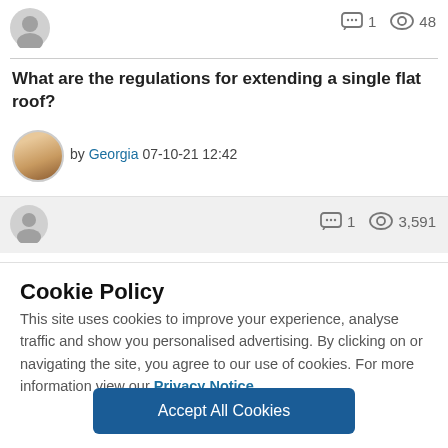[Figure (illustration): Generic user avatar circle (grey)]
1  48
What are the regulations for extending a single flat roof?
[Figure (photo): Circular profile photo of a woman with blonde hair]
by Georgia 07-10-21 12:42
[Figure (illustration): Generic user avatar circle (grey)]
1  3,591
Cookie Policy
This site uses cookies to improve your experience, analyse traffic and show you personalised advertising. By clicking on or navigating the site, you agree to our use of cookies. For more information view our Privacy Notice.
Accept All Cookies